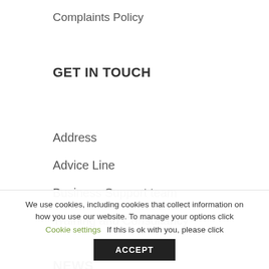Complaints Policy
GET IN TOUCH
Address
Advice Line
Business Support team
Training and Consultancy
NEWS
We use cookies, including cookies that collect information on how you use our website. To manage your options click Cookie settings   If this is ok with you, please click ACCEPT